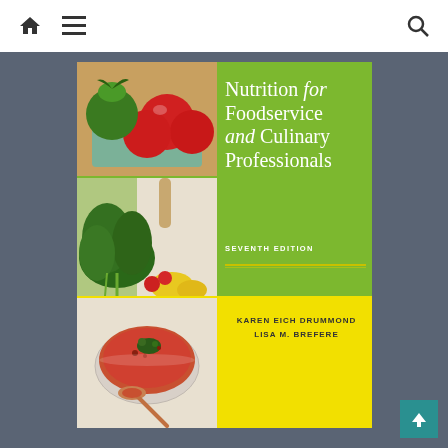Navigation bar with home, menu, and search icons
[Figure (illustration): Book cover for 'Nutrition for Foodservice and Culinary Professionals, Seventh Edition' by Karen Eich Drummond and Lisa M. Brefere. Green upper section with food photos (tomatoes, greens/vegetables) on left; yellow lower section with soup photo on left; title text on right side in white; authors listed at bottom right.]
Nutrition for Foodservice and Culinary Professionals
SEVENTH EDITION
KAREN EICH DRUMMOND
LISA M. BREFERE